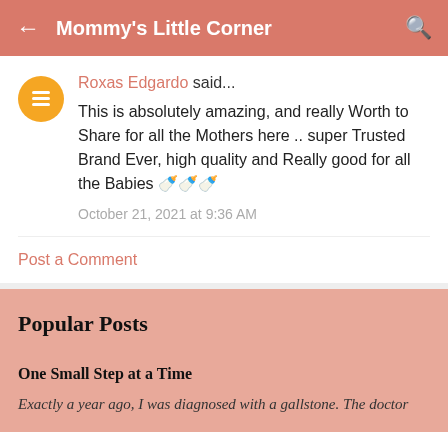Mommy's Little Corner
Roxas Edgardo said...
This is absolutely amazing, and really Worth to Share for all the Mothers here .. super Trusted Brand Ever, high quality and Really good for all the Babies 🍼🍼🍼
October 21, 2021 at 9:36 AM
Post a Comment
Popular Posts
One Small Step at a Time
Exactly a year ago, I was diagnosed with a gallstone. The doctor